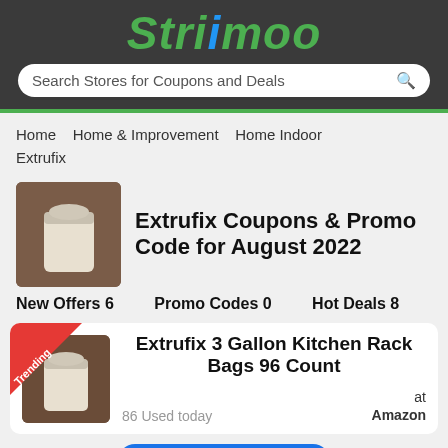Strimoo
Search Stores for Coupons and Deals
Home   Home & Improvement   Home Indoor   Extrufix
[Figure (photo): Image of Extrufix kitchen rack bag product on a brown cabinet]
Extrufix Coupons & Promo Code for August 2022
New Offers 6   Promo Codes 0   Hot Deals 8
[Figure (photo): Image of Extrufix 3 Gallon Kitchen Rack Bags product with Trending badge]
Extrufix 3 Gallon Kitchen Rack Bags 96 Count
86 Used today
at Amazon